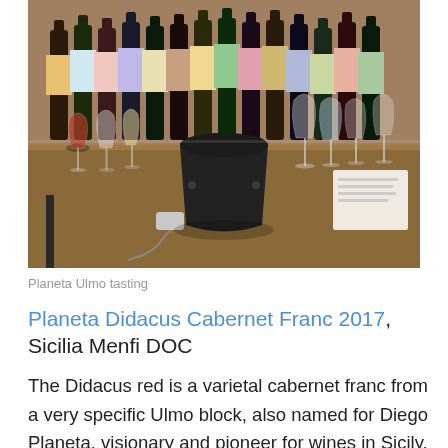[Figure (photo): Wine tasting table at Planeta Ulmo. A wooden bar/table surface covered with many wine glasses, some containing red wine, and numerous wine bottles lined up at the back. In the foreground there is a black wine bucket/spittoon with cables nearby. Papers and a notebook are visible on the right side.]
Planeta Ulmo tasting
Planeta Didacus Cabernet Franc 2017, Sicilia Menfi DOC
The Didacus red is a varietal cabernet franc from a very specific Ulmo block, also named for Diego Planeta, visionary and pioneer for wines in Sicily. The Piano del